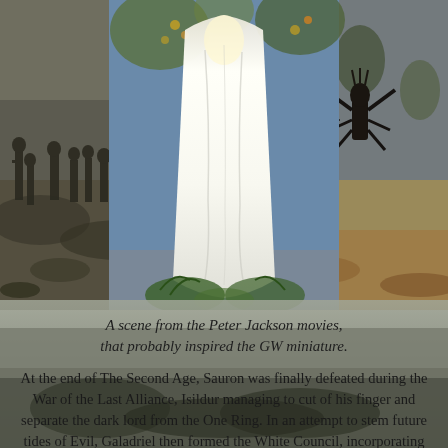[Figure (photo): Composite image: center shows a tall figure in flowing white robes (Gandalf/Saruman) from Peter Jackson's Lord of the Rings/Hobbit movies, surrounded by trees and blue sky. Left panel shows a dark battle scene with armored figures. Right panel shows a dark insectoid/armored creature figure.]
A scene from the Peter Jackson movies, that probably inspired the GW miniature.
At the end of The Second Age, Sauron was finally defeated during the War of the Last Alliance, Isildur managing to cut of his finger and separate the dark lord from the One Ring. In an attempt to stem future tides of Evil, Galadriel then formed the White Council, incorporating some of the most powerful wizards and characters of good in Middle-Earth. At this point in the legends, the three movies of the Hobbit then begin as